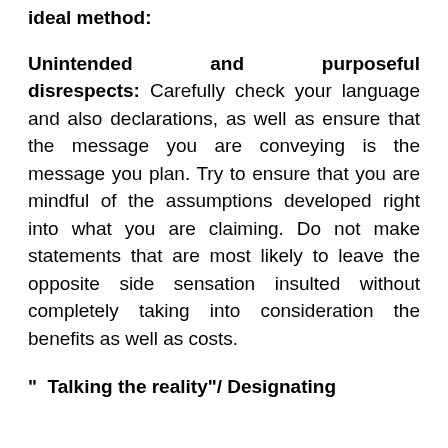ideal method:
Unintended and purposeful disrespects: Carefully check your language and also declarations, as well as ensure that the message you are conveying is the message you plan. Try to ensure that you are mindful of the assumptions developed right into what you are claiming. Do not make statements that are most likely to leave the opposite side sensation insulted without completely taking into consideration the benefits as well as costs.
" Talking the reality"/ Designating